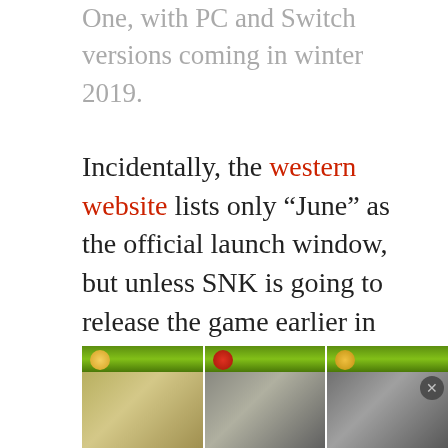One, with PC and Switch versions coming in winter 2019.
Incidentally, the western website lists only “June” as the official launch window, but unless SNK is going to release the game earlier in North America and Europe compared to Japan, the western launch date can’t be that far off.
A Season Pass is also coming with four unannounced DLC characters.
[Figure (screenshot): Three video game screenshot thumbnails showing fighting game scenes with green HUD bars at top]